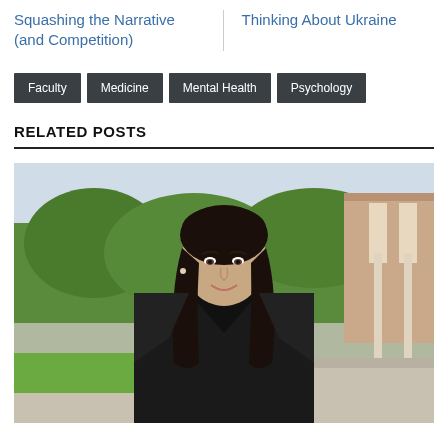Squashing the Narrative (and Competition)
Thinking About Ukraine
Faculty
Medicine
Mental Health
Psychology
RELATED POSTS
[Figure (photo): Portrait photo of a woman with long dark hair, wearing a black blazer, smiling, photographed outdoors on a campus with green trees and a brick building in the background.]